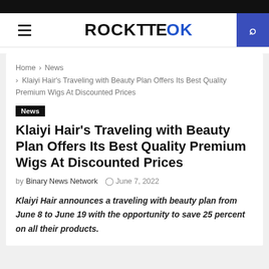ROCKTTEOk
Home > News > Klaiyi Hair's Traveling with Beauty Plan Offers Its Best Quality Premium Wigs At Discounted Prices
News
Klaiyi Hair's Traveling with Beauty Plan Offers Its Best Quality Premium Wigs At Discounted Prices
by Binary News Network   June 7, 2022
Klaiyi Hair announces a traveling with beauty plan from June 8 to June 19 with the opportunity to save 25 percent on all their products.